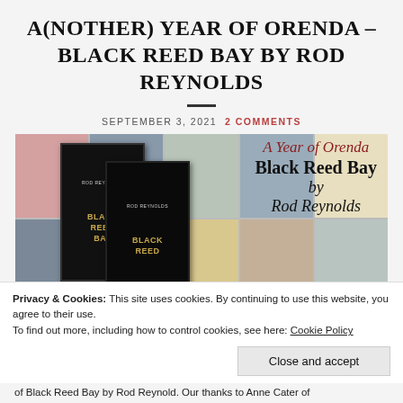A(NOTHER) YEAR OF ORENDA – BLACK REED BAY BY ROD REYNOLDS
SEPTEMBER 3, 2021  2 COMMENTS
[Figure (photo): A collage of book covers with an overlay showing 'A Year of Orenda' in red italic script and 'Black Reed Bay by Rod Reynolds' in large serif text, with two physical Black Reed Bay book covers (one hardback, one e-reader) visible on the left side of the image.]
Privacy & Cookies: This site uses cookies. By continuing to use this website, you agree to their use.
To find out more, including how to control cookies, see here: Cookie Policy
of Black Reed Bay by Rod Reynold. Our thanks to Anne Cater of